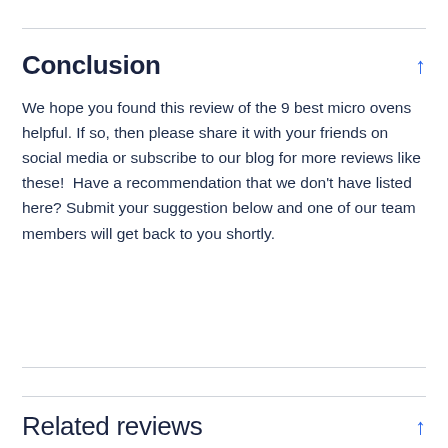Conclusion
We hope you found this review of the 9 best micro ovens helpful. If so, then please share it with your friends on social media or subscribe to our blog for more reviews like these!  Have a recommendation that we don't have listed here? Submit your suggestion below and one of our team members will get back to you shortly.
Related reviews